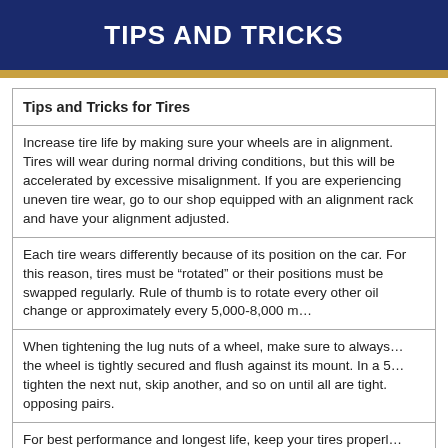TIPS AND TRICKS
| Tips and Tricks for Tires |
| Increase tire life by making sure your wheels are in alignment. Tires will wear during normal driving conditions, but this will be accelerated by excessive misalignment. If you are experiencing uneven tire wear, go to our shop equipped with an alignment rack and have your alignment adjusted. |
| Each tire wears differently because of its position on the car. For this reason, tires must be "rotated" or their positions must be swapped regularly. Rule of thumb is to rotate every other oil change or approximately every 5,000-8,000 m… |
| When tightening the lug nuts of a wheel, make sure to always… the wheel is tightly secured and flush against its mount. In a 5… tighten the next nut, skip another, and so on until all are tight. opposing pairs. |
| For best performance and longest life, keep your tires properl… specifications (32 psi on average). Overinflation causes exces… |